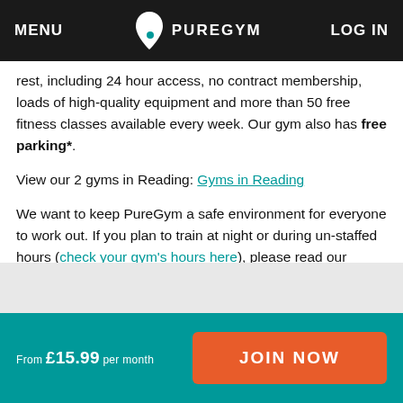MENU | PUREGYM | LOG IN
rest, including 24 hour access, no contract membership, loads of high-quality equipment and more than 50 free fitness classes available every week. Our gym also has free parking*.
View our 2 gyms in Reading: Gyms in Reading
We want to keep PureGym a safe environment for everyone to work out. If you plan to train at night or during un-staffed hours (check your gym's hours here), please read our unstaffed hours document here to ensure your safety when at the gym.
From £15.99 per month | JOIN NOW